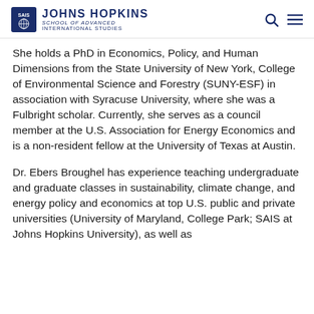Johns Hopkins School of Advanced International Studies
She holds a PhD in Economics, Policy, and Human Dimensions from the State University of New York, College of Environmental Science and Forestry (SUNY-ESF) in association with Syracuse University, where she was a Fulbright scholar. Currently, she serves as a council member at the U.S. Association for Energy Economics and is a non-resident fellow at the University of Texas at Austin.
Dr. Ebers Broughel has experience teaching undergraduate and graduate classes in sustainability, climate change, and energy policy and economics at top U.S. public and private universities (University of Maryland, College Park; SAIS at Johns Hopkins University), as well as